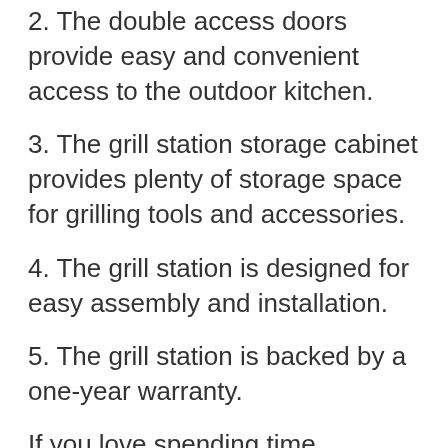2. The double access doors provide easy and convenient access to the outdoor kitchen.
3. The grill station storage cabinet provides plenty of storage space for grilling tools and accessories.
4. The grill station is designed for easy assembly and installation.
5. The grill station is backed by a one-year warranty.
If you love spending time outdoors with your family and friends cooking up delicious meals on the grill, you'll love having a CO-Z Outdoor Kitchen Doors Weatherproof Built in 304 Stainless Steel Double Access Doors for Outdoor Kitchen Gourmet and BBQ...